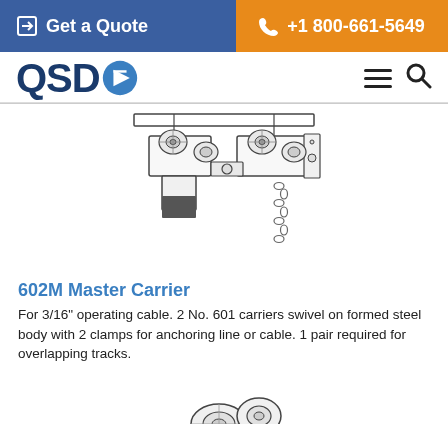Get a Quote   +1 800-661-5649
[Figure (logo): QSDO company logo in dark blue with arrow icon, plus hamburger menu and search icons]
[Figure (engineering-diagram): Line drawing of 602M Master Carrier showing two wheeled carriers on a track with a chain and cable clamps]
602M Master Carrier
For 3/16" operating cable. 2 No. 601 carriers swivel on formed steel body with 2 clamps for anchoring line or cable. 1 pair required for overlapping tracks.
[Figure (engineering-diagram): Partial line drawing of another carrier component visible at bottom of page]